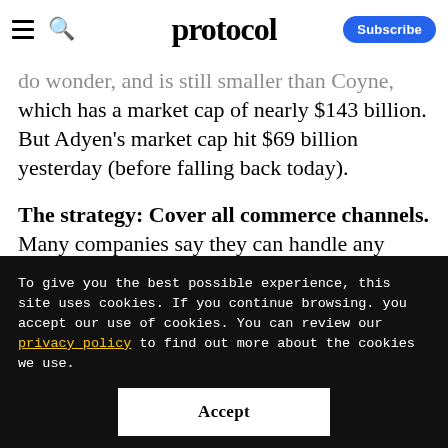protocol — Subscribe
...which has a market cap of nearly $143 billion. But Adyen's market cap hit $69 billion yesterday (before falling back today).
The strategy: Cover all commerce channels. Many companies say they can handle any form of payment, but Adyen's middleman
To give you the best possible experience, this site uses cookies. If you continue browsing. you accept our use of cookies. You can review our privacy policy to find out more about the cookies we use.
Accept